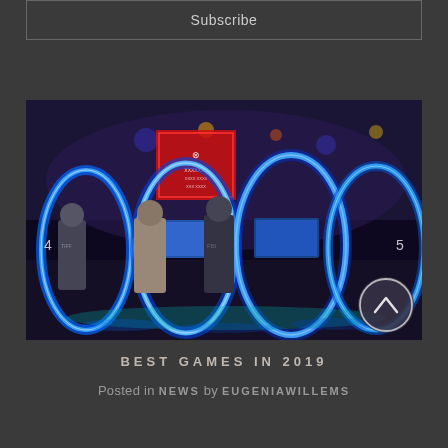Subscribe
[Figure (photo): Gaming expo hall with blue neon-lit VR pod machines. Several people stand in front of the circular/tubular VR pods with glowing blue LED rings. A red banner sign is visible in the background. Navigation numbers 4 and 5 appear on left and right edges. A circular scroll-up button with a chevron is in the bottom right corner.]
BEST GAMES IN 2019
Posted in NEWS by EUGENIAWILLEMS